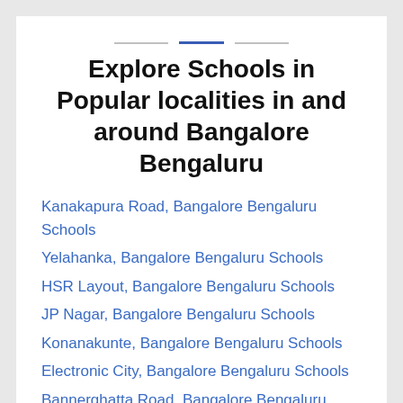Explore Schools in Popular localities in and around Bangalore Bengaluru
Kanakapura Road, Bangalore Bengaluru Schools
Yelahanka, Bangalore Bengaluru Schools
HSR Layout, Bangalore Bengaluru Schools
JP Nagar, Bangalore Bengaluru Schools
Konanakunte, Bangalore Bengaluru Schools
Electronic City, Bangalore Bengaluru Schools
Bannerghatta Road, Bangalore Bengaluru Schools
Horamavu, Bangalore Bengaluru Schools
Yeshwanthpur, Bangalore Bengaluru Schools
Banashankari, Bangalore Bengaluru Schools